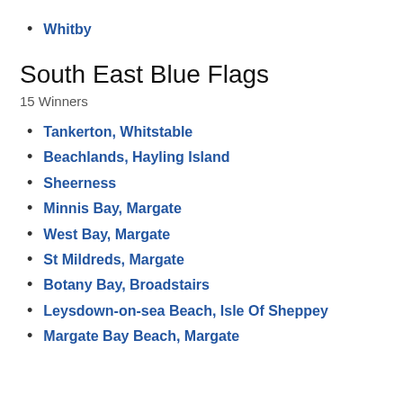Whitby
South East Blue Flags
15 Winners
Tankerton, Whitstable
Beachlands, Hayling Island
Sheerness
Minnis Bay, Margate
West Bay, Margate
St Mildreds, Margate
Botany Bay, Broadstairs
Leysdown-on-sea Beach, Isle Of Sheppey
Margate Bay Beach, Margate